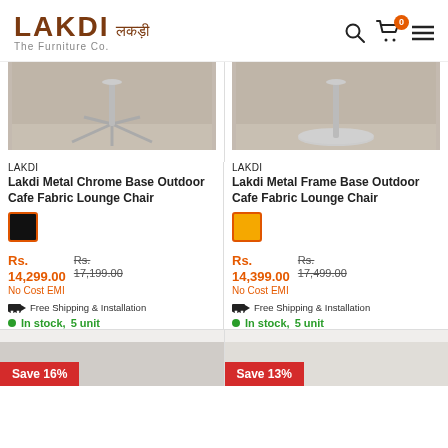LAKDI लकड़ी The Furniture Co.
[Figure (photo): Product image of Lakdi Metal Chrome Base Outdoor Cafe Fabric Lounge Chair - chair base on wooden floor]
LAKDI
Lakdi Metal Chrome Base Outdoor Cafe Fabric Lounge Chair
Rs. 14,299.00  Rs. 17,199.00  No Cost EMI
Free Shipping & Installation
In stock, 5 unit
[Figure (photo): Product image of Lakdi Metal Frame Base Outdoor Cafe Fabric Lounge Chair - chair base on wooden floor]
LAKDI
Lakdi Metal Frame Base Outdoor Cafe Fabric Lounge Chair
Rs. 14,399.00  Rs. 17,499.00  No Cost EMI
Free Shipping & Installation
In stock, 5 unit
Save 16%
Save 13%